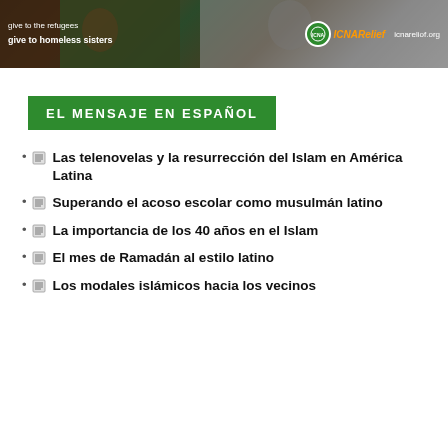[Figure (illustration): ICNA Relief banner advertisement with text 'give to the refugees' and 'give to homeless sisters', featuring photos of people, ICNA Relief logo and website icnareliof.org]
EL MENSAJE EN ESPAÑOL
Las telenovelas y la resurrección del Islam en América Latina
Superando el acoso escolar como musulmán latino
La importancia de los 40 años en el Islam
El mes de Ramadán al estilo latino
Los modales islámicos hacia los vecinos